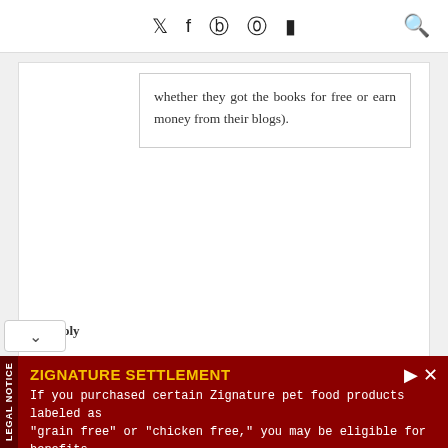Social media icons: Twitter, Facebook, Pinterest, Instagram, YouTube. Search icon.
whether they got the books for free or earn money from their blogs).
Reply
[Figure (screenshot): ZIGNATURE SETTLEMENT advertisement banner. Yellow bold title: ZIGNATURE SETTLEMENT. White body text: If you purchased certain Zignature pet food products labeled as "grain free" or "chicken free," you may be eligible for benefits. Dark red background. LEGAL NOTICE side label.]